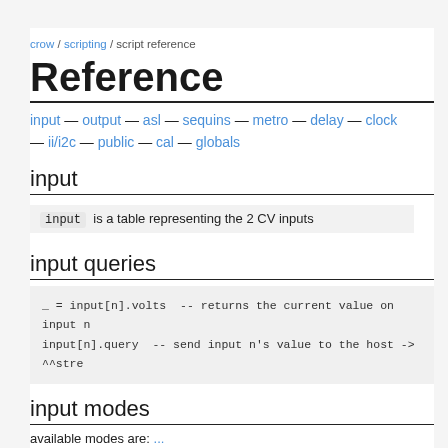crow / scripting / script reference
Reference
input — output — asl — sequins — metro — delay — clock — ii/i2c — public — cal — globals
input
input is a table representing the 2 CV inputs
input queries
_ = input[n].volts  -- returns the current value on input n
input[n].query  -- send input n's value to the host -> ^^stre
input modes
available modes are: